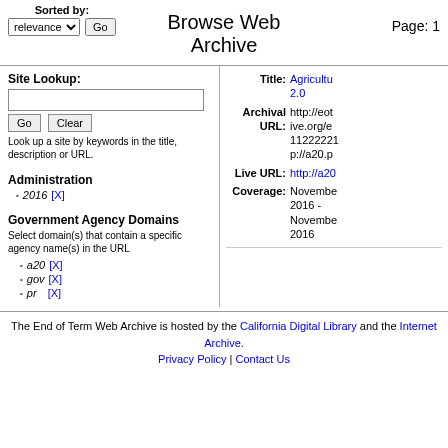Browse Web Archive
Sorted by: relevance Go
Page: 1
Site Lookup:
Look up a site by keywords in the title, description or URL.
Administration
2016 [X]
Government Agency Domains
Select domain(s) that contain a specific agency name(s) in the URL
a20 [X]
gov [X]
pr [X]
Title: Agricultu... 2.0
Archival URL: http://eot...ive.org/e...11222221...p://a20.p...
Live URL: http://a20...
Coverage: November 2016 - November 2016
The End of Term Web Archive is hosted by the California Digital Library and the Internet Archive. Privacy Policy | Contact Us